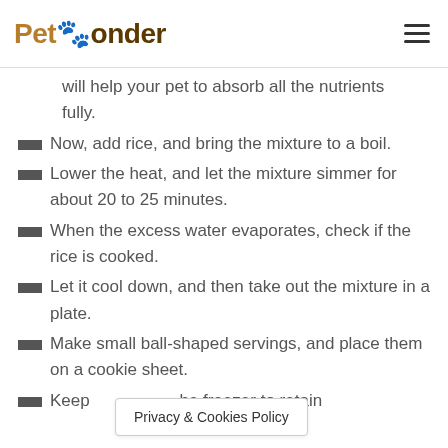PetPonder
will help your pet to absorb all the nutrients fully.
Now, add rice, and bring the mixture to a boil.
Lower the heat, and let the mixture simmer for about 20 to 25 minutes.
When the excess water evaporates, check if the rice is cooked.
Let it cool down, and then take out the mixture in a plate.
Make small ball-shaped servings, and place them on a cookie sheet.
Keep … he freezer to retain
Privacy & Cookies Policy